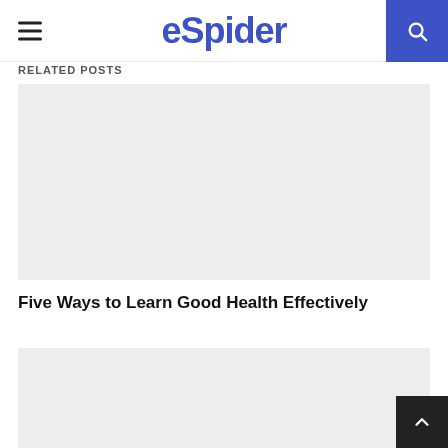eSpider
RELATED POSTS
[Figure (photo): Placeholder gray image for a related post]
Five Ways to Learn Good Health Effectively
[Figure (photo): Placeholder gray image for a second related post]